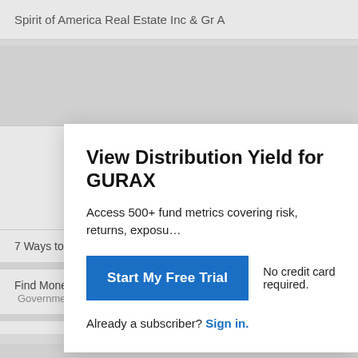Spirit of America Real Estate Inc & Gr A
View Distribution Yield for GURAX
Access 500+ fund metrics covering risk, returns, exposu…
Start My Free Trial
No credit card required.
Already a subscriber? Sign in.
7 Ways to Retire Comfortably With $500k  Fisher Investments
Find Money Grants That Don't Require Any Repayment  Government Grants | Se…